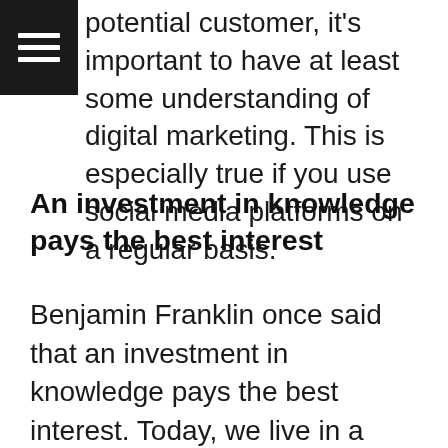[Figure (other): Hamburger menu icon — three white horizontal lines on a black square background]
potential customer, it's important to have at least some understanding of digital marketing. This is especially true if you use social media platforms on a regular basis.
An investment in knowledge pays the best interest
Benjamin Franklin once said that an investment in knowledge pays the best interest. Today, we live in a tech-obsessed society and it has never been more important for businesses to be tech savvy. Here are some reasons why it's important for businesses to keep up with